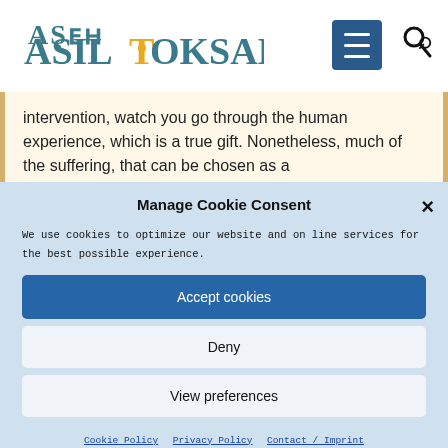ASIL TOKSAL
intervention, watch you go through the human experience, which is a true gift. Nonetheless, much of the suffering, that can be chosen as a
Manage Cookie Consent
We use cookies to optimize our website and online services for the best possible experience.
Accept cookies
Deny
View preferences
Cookie Policy   Privacy Policy   Contact / Imprint